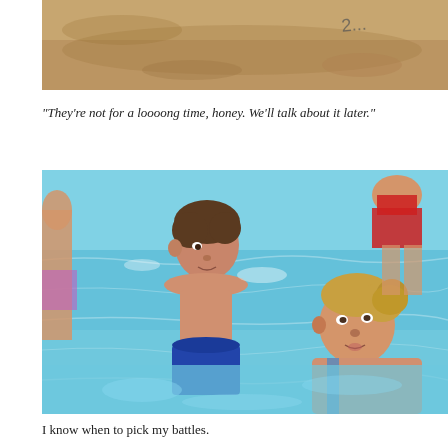[Figure (photo): Partial top photo showing sandy/rocky ground with some markings, cropped at top of page]
“They’re not for a loooong time, honey. We’ll talk about it later.”
[Figure (photo): A young boy and a woman in a swimming pool facing each other; another person visible in background with red swimsuit; blue pool water]
I know when to pick my battles.